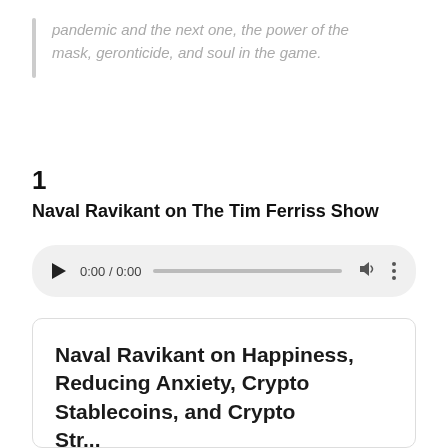pandemic and the next one, the power of the mask, geronticide, and soul in the game.
1
Naval Ravikant on The Tim Ferriss Show
[Figure (other): Audio player widget showing 0:00 / 0:00 with play button, progress bar, volume icon, and more options icon]
Naval Ravikant on Happiness, Reducing Anxiety, Crypto Stablecoins, and Crypto Strategies (#473)